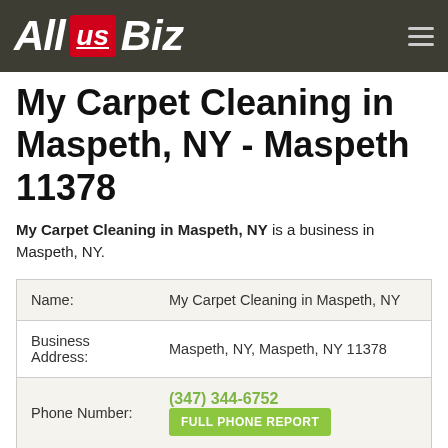All US Biz
My Carpet Cleaning in Maspeth, NY - Maspeth 11378
My Carpet Cleaning in Maspeth, NY is a business in Maspeth, NY.
|  |  |
| --- | --- |
| Name: | My Carpet Cleaning in Maspeth, NY |
| Business Address: | Maspeth, NY, Maspeth, NY 11378 |
| Phone Number: | (347) 344-6752  FULL PHONE REPORT |
| Business Category: |  |